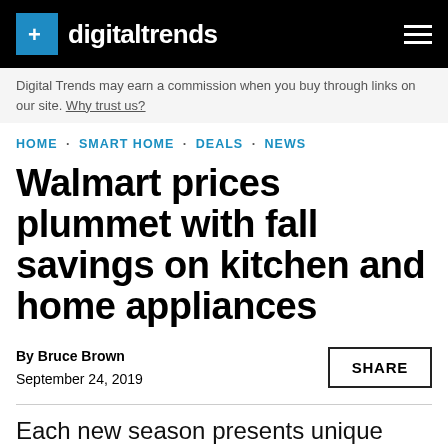digitaltrends
Digital Trends may earn a commission when you buy through links on our site. Why trust us?
HOME · SMART HOME · DEALS · NEWS
Walmart prices plummet with fall savings on kitchen and home appliances
By Bruce Brown
September 24, 2019
Each new season presents unique